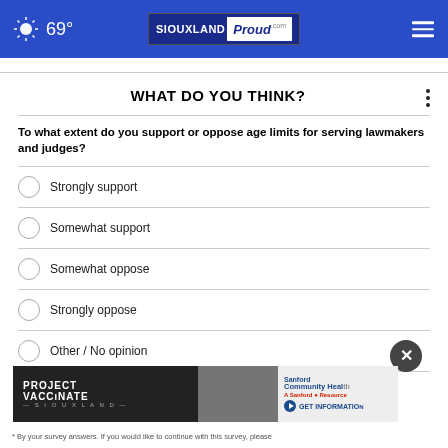69° SIOUXLAND Proud
WHAT DO YOU THINK?
To what extent do you support or oppose age limits for serving lawmakers and judges?
Strongly support
Somewhat support
Somewhat oppose
Strongly oppose
Other / No opinion
[Figure (screenshot): PROJECT VACCINATE advertisement banner with Sanford Community Health logo and GET INFORMATION button]
* By your survey answers. If you would like to continue with this survey, please